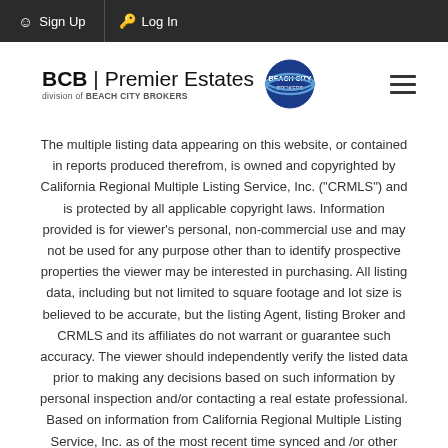Sign Up  Log In
[Figure (logo): BCB | Premier Estates logo with Beach City Brokers circle emblem]
The multiple listing data appearing on this website, or contained in reports produced therefrom, is owned and copyrighted by California Regional Multiple Listing Service, Inc. ("CRMLS") and is protected by all applicable copyright laws. Information provided is for viewer's personal, non-commercial use and may not be used for any purpose other than to identify prospective properties the viewer may be interested in purchasing. All listing data, including but not limited to square footage and lot size is believed to be accurate, but the listing Agent, listing Broker and CRMLS and its affiliates do not warrant or guarantee such accuracy. The viewer should independently verify the listed data prior to making any decisions based on such information by personal inspection and/or contacting a real estate professional. Based on information from California Regional Multiple Listing Service, Inc. as of the most recent time synced and /or other